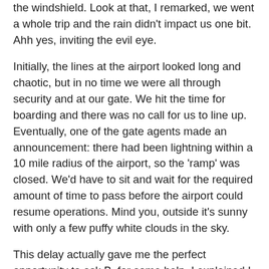the windshield. Look at that, I remarked, we went a whole trip and the rain didn't impact us one bit. Ahh yes, inviting the evil eye.
Initially, the lines at the airport looked long and chaotic, but in no time we were all through security and at our gate. We hit the time for boarding and there was no call for us to line up. Eventually, one of the gate agents made an announcement: there had been lightning within a 10 mile radius of the airport, so the 'ramp' was closed. We'd have to sit and wait for the required amount of time to pass before the airport could resume operations. Mind you, outside it's sunny with only a few puffy white clouds in the sky.
This delay actually gave me the perfect opportunity to ask B. for some help. I explained I was in a bit of pickle: the pants I was wearing weren't randomly selected. I was actually on a mission: I was field testing them for a review I was planning to post later on the blog. I knew what I wanted to say about the pants but didn't have any photos of me wearing them to post along with the text. Could she snap a few pics of me to highlight the pants?